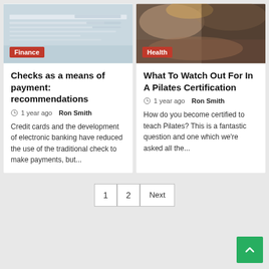[Figure (photo): Photo of a financial document (checks/bank statements) with a red Finance badge overlay]
[Figure (photo): Photo of a woman doing Pilates exercise with a red Health badge overlay]
Checks as a means of payment: recommendations
1 year ago  Ron Smith
Credit cards and the development of electronic banking have reduced the use of the traditional check to make payments, but...
What To Watch Out For In A Pilates Certification
1 year ago  Ron Smith
How do you become certified to teach Pilates? This is a fantastic question and one which we're asked all the...
1  2  Next